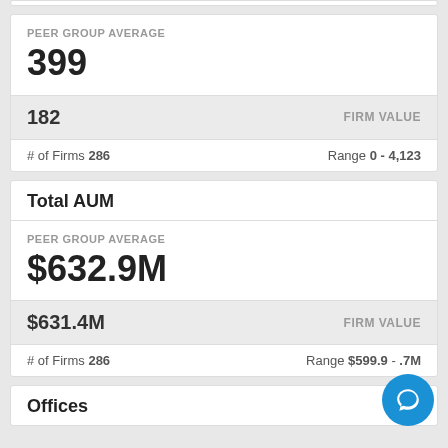PEER GROUP AVERAGE
399
182
FIRM VALUE
# of Firms 286
Range 0 - 4,123
Total AUM
PEER GROUP AVERAGE
$632.9M
$631.4M
FIRM VALUE
# of Firms 286
Range $599.9 - .7M
Offices